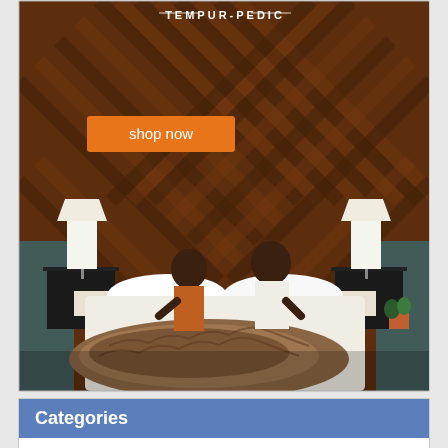[Figure (photo): Tempur-Pedic advertisement showing a couple sitting on a white bed with herringbone wood wall background, two nightstands with lamps, a faux fur throw blanket, orange 'shop now' button, and Tempur-Pedic logo at top]
Categories
Actors
Actresses
Athlete